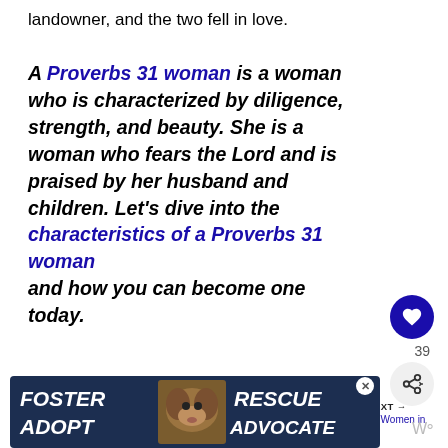landowner, and the two fell in love.
A Proverbs 31 woman is a woman who is characterized by diligence, strength, and beauty. She is a woman who fears the Lord and is praised by her husband and children. Let’s dive into the characteristics of a Proverbs 31 woman and how you can become one today.
39
ADVERTISEMENT
WHAT’S NEXT → 25 Powerful Women in th...
[Figure (infographic): Dog rescue/adoption advertisement banner with text FOSTER ADOPT and RESCUE ADVOCATE on dark navy background with a beagle dog photo in the center]